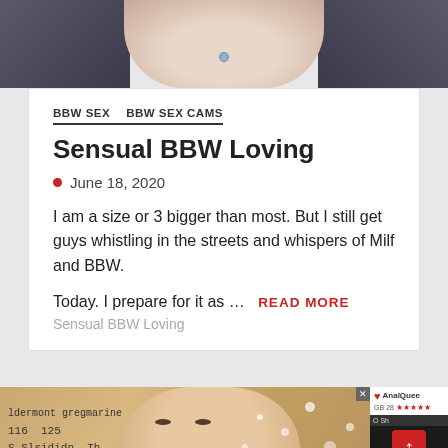[Figure (photo): Top cropped photo showing a person's midriff with a belly piercing, wearing an open denim jacket]
BBW SEX   BBW SEX CAMS
Sensual BBW Loving
June 18, 2020
I am a size or 3 bigger than most. But I still get guys whistling in the streets and whispers of Milf and BBW.
Today. I prepare for it as ...   READ MORE
Sensual BBW Loving
[Figure (screenshot): Bottom portion showing a webcam screenshot of a blonde woman with text overlay showing numbers, and an ad panel on the right side]